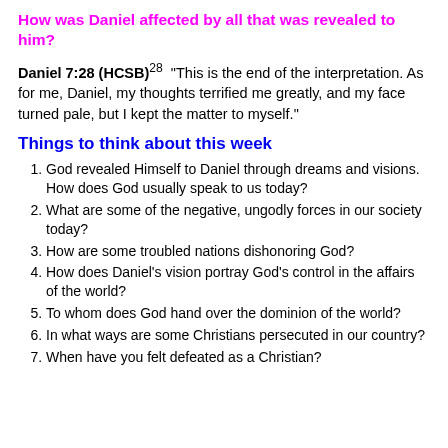How was Daniel affected by all that was revealed to him?
Daniel 7:28 (HCSB)28 “This is the end of the interpretation. As for me, Daniel, my thoughts terrified me greatly, and my face turned pale, but I kept the matter to myself.”
Things to think about this week
God revealed Himself to Daniel through dreams and visions. How does God usually speak to us today?
What are some of the negative, ungodly forces in our society today?
How are some troubled nations dishonoring God?
How does Daniel’s vision portray God’s control in the affairs of the world?
To whom does God hand over the dominion of the world?
In what ways are some Christians persecuted in our country?
When have you felt defeated as a Christian?